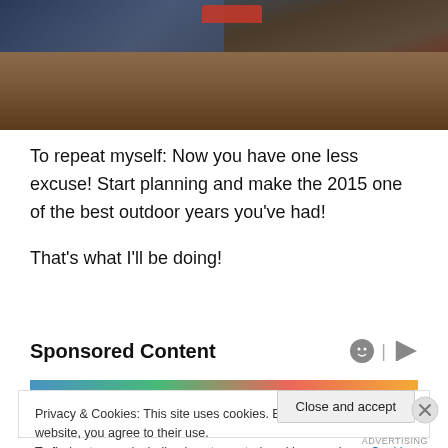[Figure (photo): Outdoor landscape photo showing water/lake and rocky terrain, with a red boat visible. Dark, warm tones.]
To repeat myself: Now you have one less excuse! Start planning and make the 2015 one of the best outdoor years you've had!
That's what I'll be doing!
Sponsored Content
[Figure (screenshot): Sponsored content ad image strip with colorful banner]
Privacy & Cookies: This site uses cookies. By continuing to use this website, you agree to their use.
To find out more, including how to control cookies, see here: Cookie Policy
Close and accept